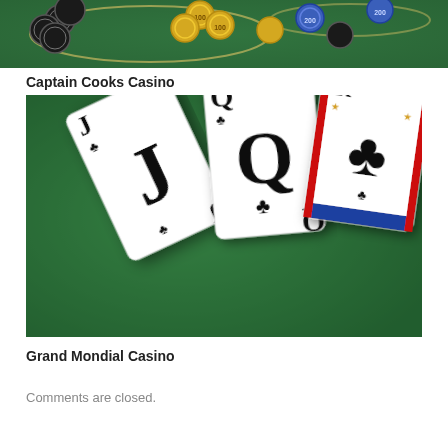[Figure (photo): Top portion of a casino table with poker chips on green felt — black, gold, and blue chips visible]
Captain Cooks Casino
[Figure (photo): Three playing cards (Jack, Queen, King of clubs/spades) fanned out on a green felt casino table]
Grand Mondial Casino
Comments are closed.